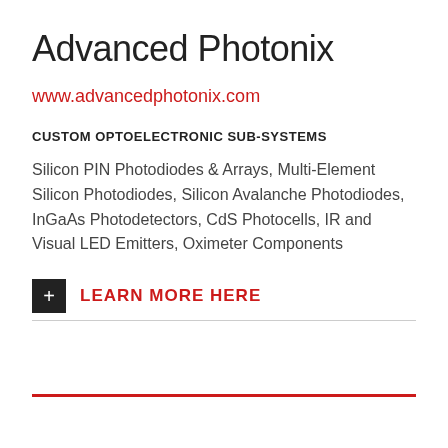Advanced Photonix
www.advancedphotonix.com
CUSTOM OPTOELECTRONIC SUB-SYSTEMS
Silicon PIN Photodiodes & Arrays, Multi-Element Silicon Photodiodes, Silicon Avalanche Photodiodes, InGaAs Photodetectors, CdS Photocells, IR and Visual LED Emitters, Oximeter Components
+ LEARN MORE HERE